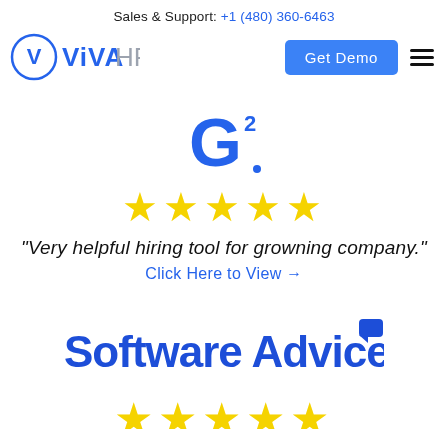Sales & Support: +1 (480) 360-6463
[Figure (logo): VivaHR logo with circular V emblem and 'VIVA HR' text in blue and grey]
[Figure (other): Get Demo button (blue) and hamburger menu icon]
[Figure (logo): G2 logo - blue G with superscript 2]
[Figure (other): Five yellow stars rating]
"Very helpful hiring tool for growning company."
Click Here to View →
[Figure (logo): Software Advice logo in bold blue text with speech bubble icon]
[Figure (other): Five yellow stars rating (partially visible at bottom)]